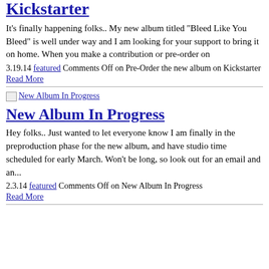Pre-Order the new album on Kickstarter
It's finally happening folks.. My new album titled "Bleed Like You Bleed" is well under way and I am looking for your support to bring it on home. When you make a contribution or pre-order on
3.19.14 featured Comments Off on Pre-Order the new album on Kickstarter
Read More
[Figure (photo): Broken image placeholder labeled 'New Album In Progress']
New Album In Progress
Hey folks.. Just wanted to let everyone know I am finally in the preproduction phase for the new album, and have studio time scheduled for early March. Won't be long, so look out for an email and an...
2.3.14 featured Comments Off on New Album In Progress
Read More